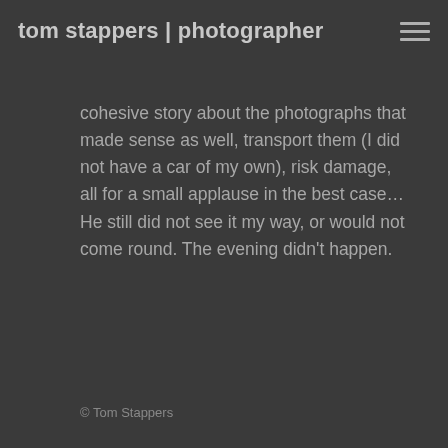tom stappers | photographer
cohesive story about the photographs that made sense as well, transport them (I did not have a car of my own), risk damage, all for a small applause in the best case… He still did not see it my way, or would not come round. The evening didn't happen.
© Tom Stappers